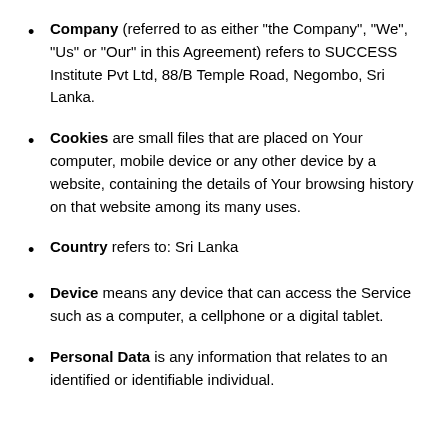Company (referred to as either "the Company", "We", "Us" or "Our" in this Agreement) refers to SUCCESS Institute Pvt Ltd, 88/B Temple Road, Negombo, Sri Lanka.
Cookies are small files that are placed on Your computer, mobile device or any other device by a website, containing the details of Your browsing history on that website among its many uses.
Country refers to: Sri Lanka
Device means any device that can access the Service such as a computer, a cellphone or a digital tablet.
Personal Data is any information that relates to an identified or identifiable individual.